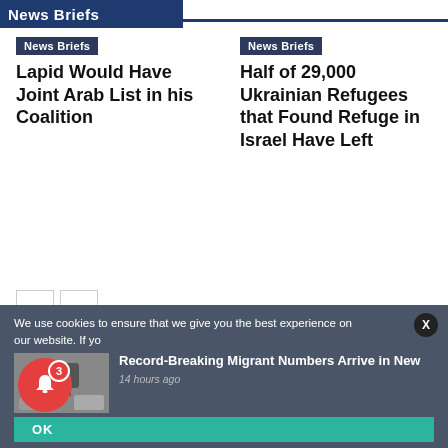News Briefs
Lapid Would Have Joint Arab List in his Coalition
Half of 29,000 Ukrainian Refugees that Found Refuge in Israel Have Left
Elections
Sponsored Post
Sponsored Posts
We use cookies to ensure that we give you the best experience on our website. If yo
Record-Breaking Migrant Numbers Arrive in New
14 hours ago